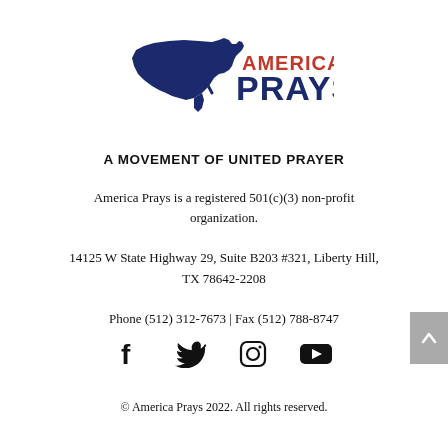[Figure (logo): America Prays logo: navy blue silhouette of USA map with person raising arms, text 'AMERICA' in red and 'PRAYS' in navy blue bold]
A MOVEMENT OF UNITED PRAYER
America Prays is a registered 501(c)(3) non-profit organization.
14125 W State Highway 29, Suite B203 #321, Liberty Hill, TX 78642-2208
Phone (512) 312-7673 | Fax (512) 788-8747
[Figure (illustration): Social media icons: Facebook, Twitter, Instagram, YouTube]
© America Prays 2022. All rights reserved.